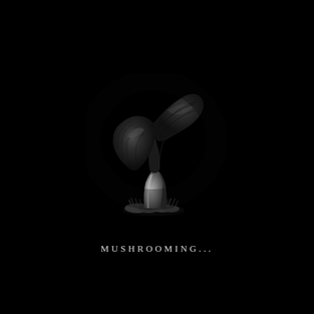[Figure (illustration): A dark, dramatic illustration of a single mushroom with a curved cap tilting to the right, a pale stipe (stem), and small grass tufts at the base. The mushroom is rendered against a completely black background, with subtle grayscale shading highlighting the cap's texture and the stem's cylindrical form.]
MUSHROOMING...